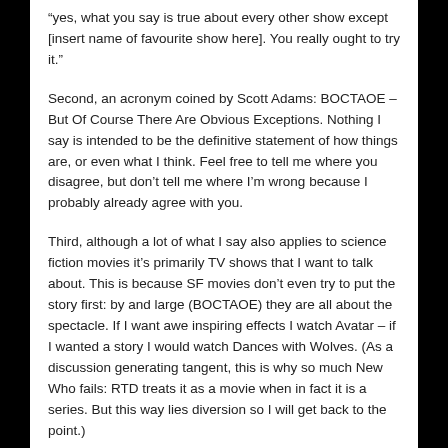“yes, what you say is true about every other show except [insert name of favourite show here]. You really ought to try it.”
Second, an acronym coined by Scott Adams: BOCTAOE – But Of Course There Are Obvious Exceptions. Nothing I say is intended to be the definitive statement of how things are, or even what I think. Feel free to tell me where you disagree, but don’t tell me where I’m wrong because I probably already agree with you.
Third, although a lot of what I say also applies to science fiction movies it’s primarily TV shows that I want to talk about. This is because SF movies don’t even try to put the story first: by and large (BOCTAOE) they are all about the spectacle. If I want awe inspiring effects I watch Avatar – if I wanted a story I would watch Dances with Wolves. (As a discussion generating tangent, this is why so much New Who fails: RTD treats it as a movie when in fact it is a series. But this way lies diversion so I will get back to the point.)